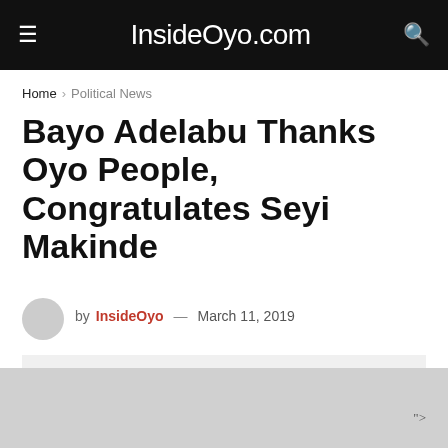InsideOyo.com
Home › Political News
Bayo Adelabu Thanks Oyo People, Congratulates Seyi Makinde
by InsideOyo — March 11, 2019
[Figure (other): Advertisement placeholder box, light gray background]
">